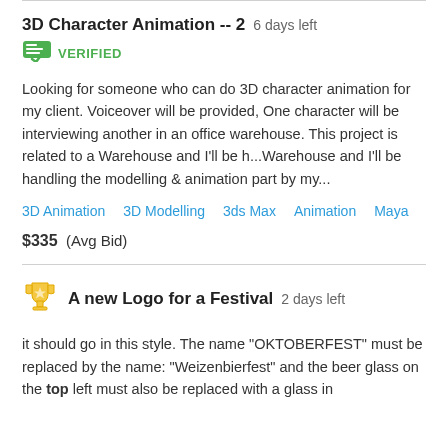3D Character Animation -- 2  6 days left
VERIFIED
Looking for someone who can do 3D character animation for my client. Voiceover will be provided, One character will be interviewing another in an office warehouse. This project is related to a Warehouse and I'll be h...Warehouse and I'll be handling the modelling & animation part by my...
3D Animation   3D Modelling   3ds Max   Animation   Maya
$335  (Avg Bid)
A new Logo for a Festival  2 days left
it should go in this style. The name "OKTOBERFEST" must be replaced by the name: "Weizenbierfest" and the beer glass on the top left must also be replaced with a glass in